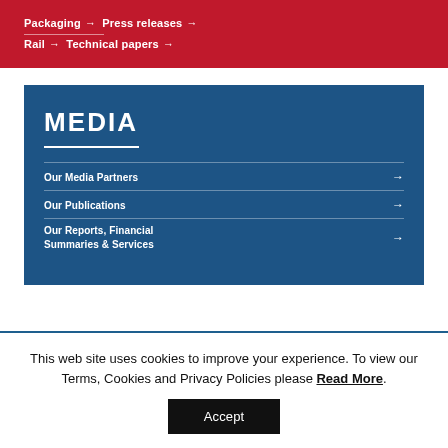Packaging → Press releases →
Rail → Technical papers →
[Figure (screenshot): Blue MEDIA panel with links: Our Media Partners, Our Publications, Our Reports Financial Summaries & Services]
This web site uses cookies to improve your experience. To view our Terms, Cookies and Privacy Policies please Read More.
Accept